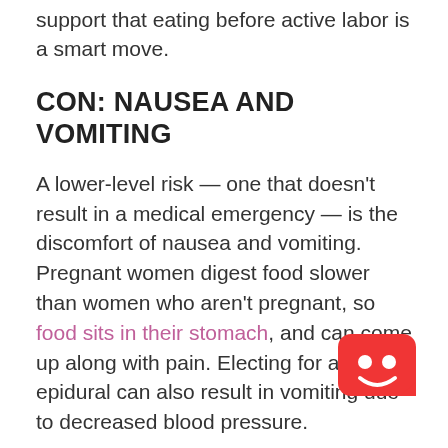support that eating before active labor is a smart move.
CON: NAUSEA AND VOMITING
A lower-level risk — one that doesn't result in a medical emergency — is the discomfort of nausea and vomiting. Pregnant women digest food slower than women who aren't pregnant, so food sits in their stomach, and can come up along with pain. Electing for an epidural can also result in vomiting due to decreased blood pressure.
[Figure (illustration): Red chatbot icon with smiley face, rounded square shape with tail at bottom-right corner]